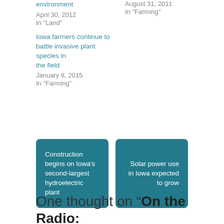environment
April 30, 2012
In "Land"
August 31, 2011
In "Farming"
Iowa farmers continue to battle invasive plant species in the field
January 8, 2015
In "Farming"
Construction begins on Iowa's second-largest hydroelectric plant
Solar power use in Iowa expected to grow
One thought on “On the Radio: Superweed spreads into Iowa